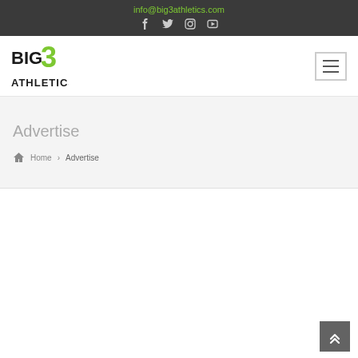info@big3athletics.com
[Figure (logo): Big 3 Athletics logo with BIG in black bold text, 3 in green, and ATHLETICS in black bold text below]
Advertise
Home > Advertise